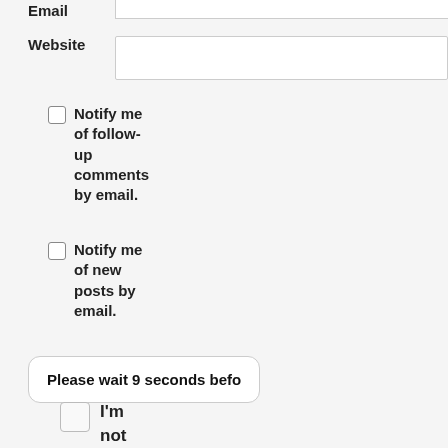Email
Website
Notify me of follow-up comments by email.
Notify me of new posts by email.
Please wait 9 seconds befo
I'm not a spammer.